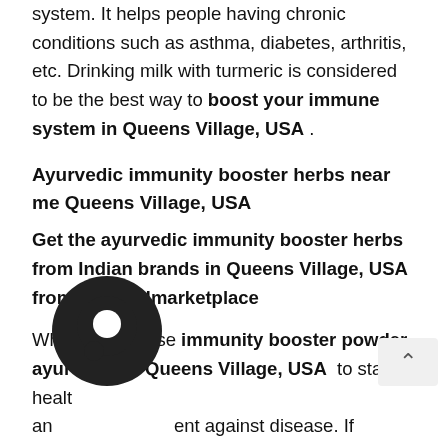system. It helps people having chronic conditions such as asthma, diabetes, arthritis, etc. Drinking milk with turmeric is considered to be the best way to boost your immune system in Queens Village, USA .
Ayurvedic immunity booster herbs near me Queens Village, USA
Get the ayurvedic immunity booster herbs from Indian brands in Queens Village, USA from Ayurvedmarketplace
Why not try these immunity booster powder ayurvedic in Queens Village, USA  to stay healthy and prevent against disease. If someone has any medical conditions, it is best to consult a doctor and make the desired changes in the diet to know